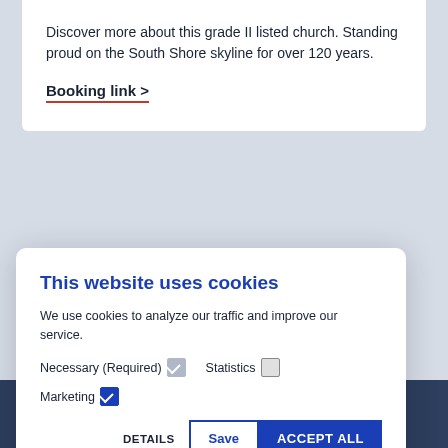Discover more about this grade II listed church. Standing proud on the South Shore skyline for over 120 years.
Booking link >
This website uses cookies
We use cookies to analyze our traffic and improve our service.
Necessary (Required) [checked] Statistics [unchecked] Marketing [checked]
DETAILS  Save  ACCEPT ALL